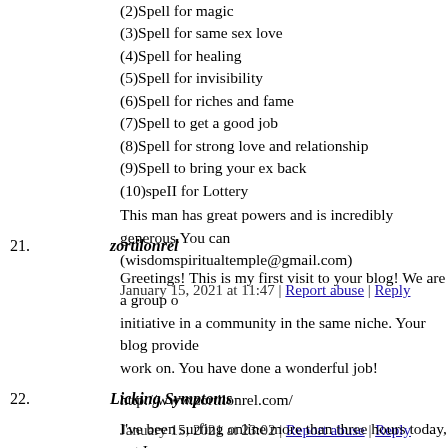(2)Spell for magic
(3)Spell for same sex love
(4)Spell for healing
(5)Spell for invisibility
(6)Spell for riches and fame
(7)Spell to get a good job
(8)Spell for strong love and relationship
(9)Spell to bring your ex back
(10)speII for Lottery
This man has great powers and is incredibly generous.You can (wisdomspiritualtemple@gmail.com)
January 15, 2021 at 11:47 | Report abuse | Reply
21. zortilonrel
Greetings! This is my first visit to your blog! We are a group o initiative in a community in the same niche. Your blog provide work on. You have done a wonderful job!
http://www.zortilonrel.com/
January 15, 2021 at 23:02 | Report abuse | Reply
22. Licking Symptoms
I've been surfing online more than three hours today, yet I neve like yours. It is pretty worth enough for me. Personally, if all w